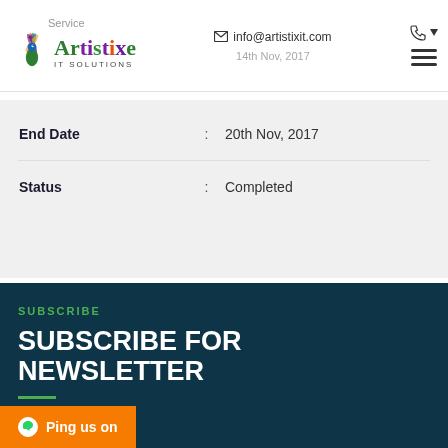Service | info@artistixit.com | 14th Nov, 2017 | Artistixe IT Solutions
| End Date | : | 20th Nov, 2017 |
| Status | : | Completed |
SUBSCRIBE
SUBSCRIBE FOR NEWSLETTER
Ping us on